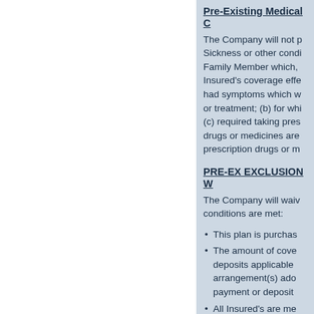Pre-Existing Medical C
The Company will not p Sickness or other condi Family Member which, Insured's coverage effe had symptoms which w or treatment; (b) for whi (c) required taking pres drugs or medicines are prescription drugs or m
PRE-EX EXCLUSION W
The Company will waiv conditions are met:
This plan is purchas
The amount of cove deposits applicable arrangement(s) ado payment or deposit
All Insured's are me
Assistance Services**
All Assistance Services Company. Travel Guar consultation using an e